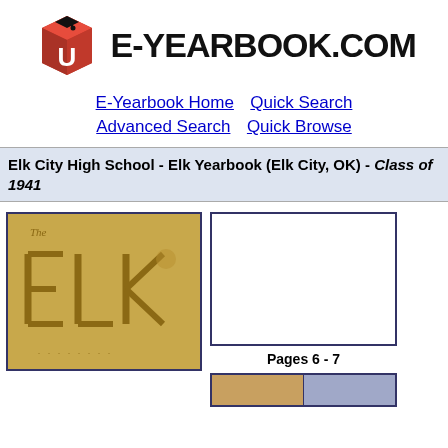[Figure (logo): E-Yearbook.com logo with red cube and graduation cap icon, bold text 'E-YEARBOOK.COM']
E-Yearbook Home  Quick Search
Advanced Search  Quick Browse
Elk City High School - Elk Yearbook (Elk City, OK) - Class of 1941
[Figure (photo): Yearbook cover showing 'The ELK' text embossed on tan/gold background]
[Figure (photo): Blank white page placeholder with blue border, Pages 6-7]
Pages 6 - 7
[Figure (photo): Bottom strip showing partial yearbook page thumbnails]